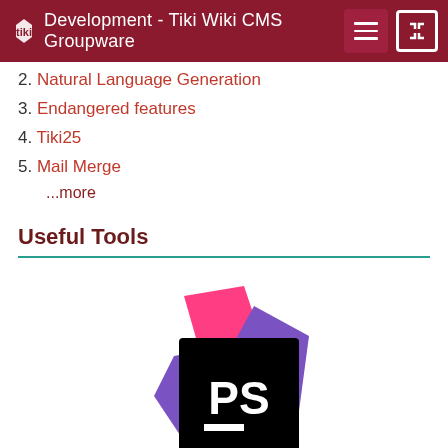Development - Tiki Wiki CMS Groupware
2. Natural Language Generation
3. Endangered features
4. Tiki25
5. Mail Merge
...more
Useful Tools
[Figure (logo): PhpStorm IDE logo by JetBrains — pink, purple, and black geometric shape with 'PS' text]
PhpStorm by JetBrains